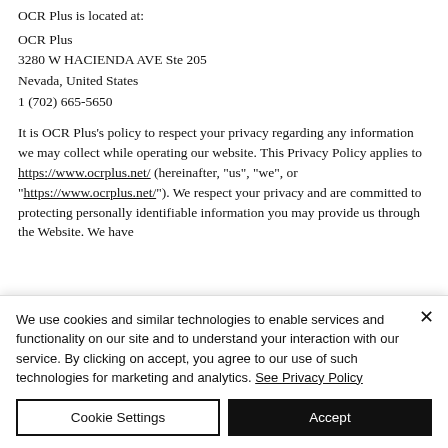OCR Plus is located at:
OCR Plus
3280 W HACIENDA AVE Ste 205
Nevada, United States
1 (702) 665-5650
It is OCR Plus's policy to respect your privacy regarding any information we may collect while operating our website. This Privacy Policy applies to https://www.ocrplus.net/ (hereinafter, "us", "we", or "https://www.ocrplus.net/"). We respect your privacy and are committed to protecting personally identifiable information you may provide us through the Website. We have
We use cookies and similar technologies to enable services and functionality on our site and to understand your interaction with our service. By clicking on accept, you agree to our use of such technologies for marketing and analytics. See Privacy Policy